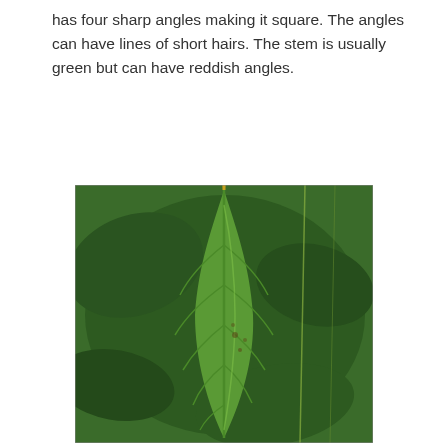has four sharp angles making it square. The angles can have lines of short hairs. The stem is usually green but can have reddish angles.
[Figure (photo): Close-up photograph of a green plant leaf with prominent veins and a visible stem, surrounded by other green foliage in the background.]